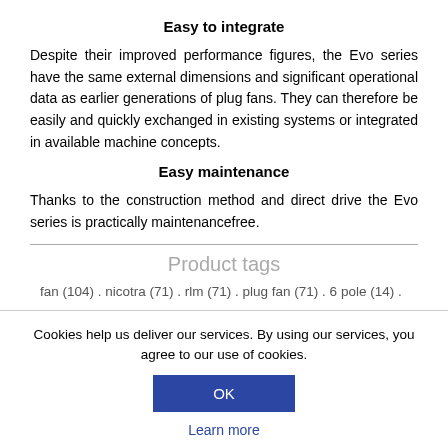Easy to integrate
Despite their improved performance figures, the Evo series have the same external dimensions and significant operational data as earlier generations of plug fans. They can therefore be easily and quickly exchanged in existing systems or integrated in available machine concepts.
Easy maintenance
Thanks to the construction method and direct drive the Evo series is practically maintenancefree.
Product tags
fan (104) . nicotra (71) . rlm (71) . plug fan (71) . 6 pole (14) .
Cookies help us deliver our services. By using our services, you agree to our use of cookies.